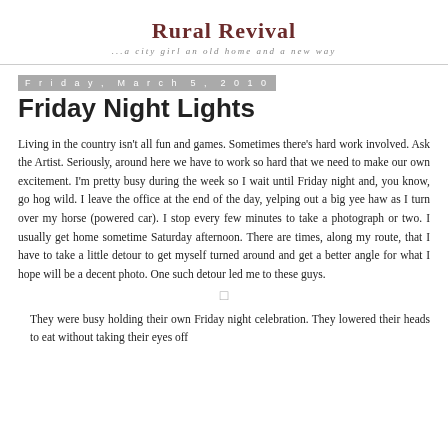Rural Revival
...a city girl an old home and a new way
Friday, March 5, 2010
Friday Night Lights
Living in the country isn't all fun and games. Sometimes there's hard work involved. Ask the Artist. Seriously, around here we have to work so hard that we need to make our own excitement. I'm pretty busy during the week so I wait until Friday night and, you know, go hog wild. I leave the office at the end of the day, yelping out a big yee haw as I turn over my horse (powered car). I stop every few minutes to take a photograph or two. I usually get home sometime Saturday afternoon. There are times, along my route, that I have to take a little detour to get myself turned around and get a better angle for what I hope will be a decent photo. One such detour led me to these guys.
They were busy holding their own Friday night celebration. They lowered their heads to eat without taking their eyes off